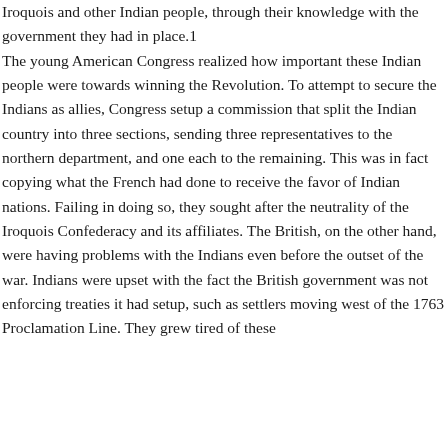Iroquois and other Indian people, through their knowledge with the government they had in place.1 The young American Congress realized how important these Indian people were towards winning the Revolution. To attempt to secure the Indians as allies, Congress setup a commission that split the Indian country into three sections, sending three representatives to the northern department, and one each to the remaining. This was in fact copying what the French had done to receive the favor of Indian nations. Failing in doing so, they sought after the neutrality of the Iroquois Confederacy and its affiliates. The British, on the other hand, were having problems with the Indians even before the outset of the war. Indians were upset with the fact the British government was not enforcing treaties it had setup, such as settlers moving west of the 1763 Proclamation Line. They grew tired of these